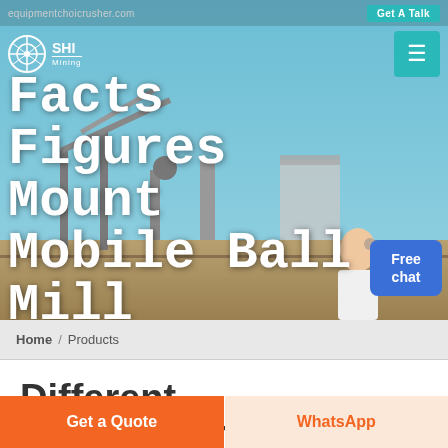equipmentchoicrusher.com / Get A Talk
[Figure (photo): Mining site with conveyor belts and industrial equipment against a blue sky background]
Facts Figures Mount Mobile Ball Mill Machines
Free chat
Home / Products
Different Machines To Meet All
Get a Quote
WhatsApp